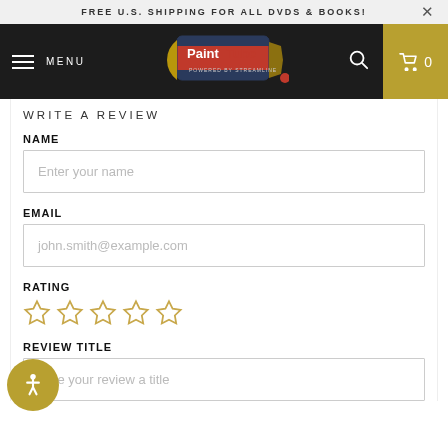FREE U.S. SHIPPING FOR ALL DVDS & BOOKS!
[Figure (screenshot): PaintTube logo with paint tube graphic on dark navy background, powered by Streamline]
WRITE A REVIEW
NAME
Enter your name
EMAIL
john.smith@example.com
RATING
REVIEW TITLE
Give your review a title